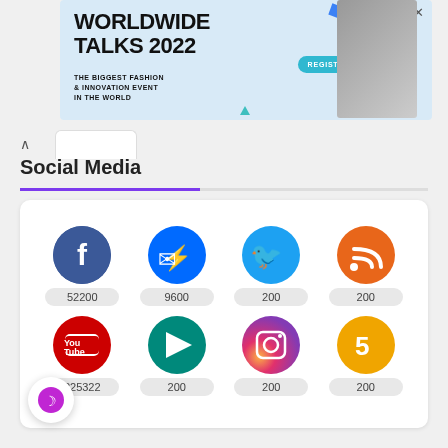[Figure (screenshot): Advertisement banner for Worldwide Talks 2022 - The Biggest Fashion & Innovation Event in the World, with a Register Now button and a person posing in the background]
Social Media
[Figure (infographic): Social media icons grid showing 8 platforms: Facebook (52200), Messenger (9600), Twitter (200), RSS (200), YouTube (225322), Google Play (200), Instagram (200), Five (200)]